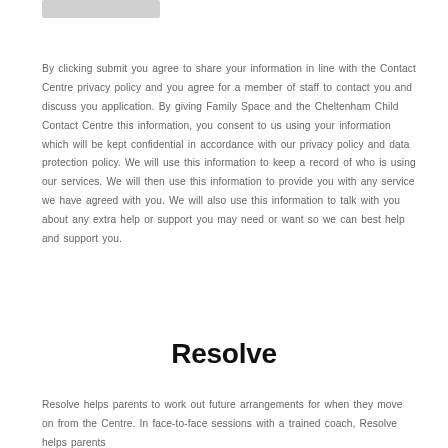[Figure (other): Grey rounded rectangle placeholder/image at top left]
By clicking submit you agree to share your information in line with the Contact Centre privacy policy and you agree for a member of staff to contact you and discuss you application. By giving Family Space and the Cheltenham Child Contact Centre this information, you consent to us using your information which will be kept confidential in accordance with our privacy policy and data protection policy. We will use this information to keep a record of who is using our services. We will then use this information to provide you with any service we have agreed with you. We will also use this information to talk with you about any extra help or support you may need or want so we can best help and support you.
Resolve
Resolve helps parents to work out future arrangements for when they move on from the Centre. In face-to-face sessions with a trained coach, Resolve helps parents